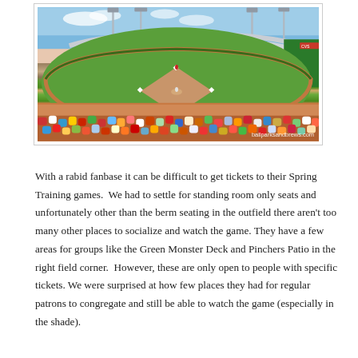[Figure (photo): Aerial view of a spring training baseball stadium packed with fans, showing the baseball diamond, outfield, green grass, stadium seating, and light towers under a blue sky. Watermark reads 'ballparksandbrews.com'.]
With a rabid fanbase it can be difficult to get tickets to their Spring Training games.  We had to settle for standing room only seats and unfortunately other than the berm seating in the outfield there aren't too many other places to socialize and watch the game. They have a few areas for groups like the Green Monster Deck and Pinchers Patio in the right field corner.  However, these are only open to people with specific tickets. We were surprised at how few places they had for regular patrons to congregate and still be able to watch the game (especially in the shade).